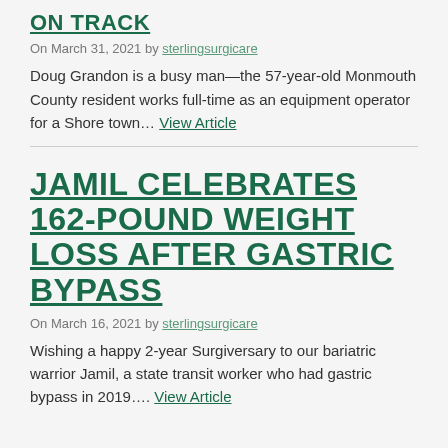ON TRACK
On March 31, 2021 by sterlingsurgicare
Doug Grandon is a busy man—the 57-year-old Monmouth County resident works full-time as an equipment operator for a Shore town… View Article
JAMIL CELEBRATES 162-POUND WEIGHT LOSS AFTER GASTRIC BYPASS
On March 16, 2021 by sterlingsurgicare
Wishing a happy 2-year Surgiversary to our bariatric warrior Jamil, a state transit worker who had gastric bypass in 2019…. View Article